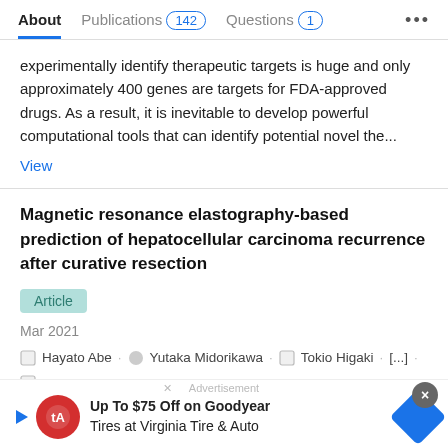About   Publications 142   Questions 1   ...
experimentally identify therapeutic targets is huge and only approximately 400 genes are targets for FDA-approved drugs. As a result, it is inevitable to develop powerful computational tools that can identify potential novel the...
View
Magnetic resonance elastography-based prediction of hepatocellular carcinoma recurrence after curative resection
Article
Mar 2021
Hayato Abe · Yutaka Midorikawa · Tokio Higaki · [...] · Tadatoshi Takayama
Background Liver stiffness measurement using magnetic resonance elastography can assess the severity of liver fibrosis,
Up To $75 Off on Goodyear Tires at Virginia Tire & Auto